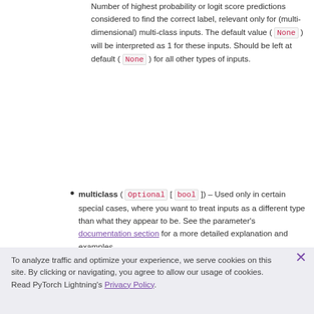Number of highest probability or logit score predictions considered to find the correct label, relevant only for (multi-dimensional) multi-class inputs. The default value ( None ) will be interpreted as 1 for these inputs. Should be left at default ( None ) for all other types of inputs.
multiclass ( Optional [ bool ] ) – Used only in certain special cases, where you want to treat inputs as a different type than what they appear to be. See the parameter's documentation section for a more detailed explanation and examples.
Return type
Tensor
Returns
To analyze traffic and optimize your experience, we serve cookies on this site. By clicking or navigating, you agree to allow our usage of cookies. Read PyTorch Lightning's Privacy Policy.